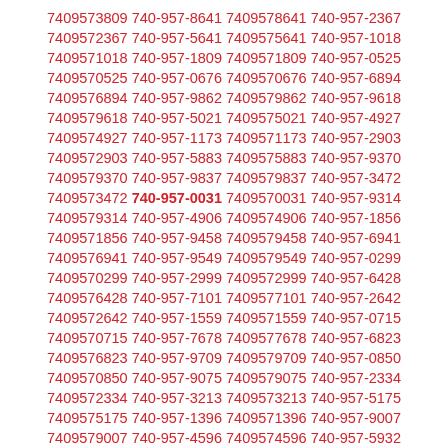7409573809 740-957-8641 7409578641 740-957-2367 7409572367 740-957-5641 7409575641 740-957-1018 7409571018 740-957-1809 7409571809 740-957-0525 7409570525 740-957-0676 7409570676 740-957-6894 7409576894 740-957-9862 7409579862 740-957-9618 7409579618 740-957-5021 7409575021 740-957-4927 7409574927 740-957-1173 7409571173 740-957-2903 7409572903 740-957-5883 7409575883 740-957-9370 7409579370 740-957-9837 7409579837 740-957-3472 7409573472 740-957-0031 7409570031 740-957-9314 7409579314 740-957-4906 7409574906 740-957-1856 7409571856 740-957-9458 7409579458 740-957-6941 7409576941 740-957-9549 7409579549 740-957-0299 7409570299 740-957-2999 7409572999 740-957-6428 7409576428 740-957-7101 7409577101 740-957-2642 7409572642 740-957-1559 7409571559 740-957-0715 7409570715 740-957-7678 7409577678 740-957-6823 7409576823 740-957-9709 7409579709 740-957-0850 7409570850 740-957-9075 7409579075 740-957-2334 7409572334 740-957-3213 7409573213 740-957-5175 7409575175 740-957-1396 7409571396 740-957-9007 7409579007 740-957-4596 7409574596 740-957-5932 7409575932 740-957-8784 7409578784 740-957-5984 7409575984 740-957-6999 7409576999 740-957-0786 7409570786 740-957-5496 7409575496 740-957-0640